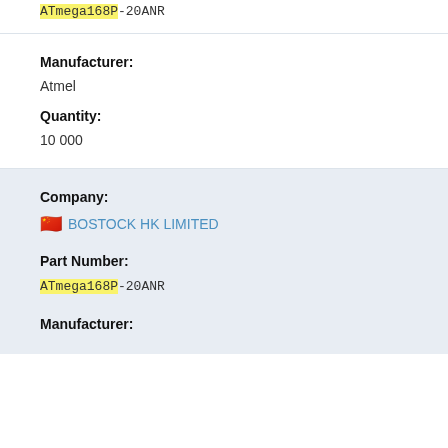ATmega168P-20ANR (partial, top)
Manufacturer:
Atmel
Quantity:
10 000
Company:
BOSTOCK HK LIMITED
Part Number:
ATmega168P-20ANR
Manufacturer: